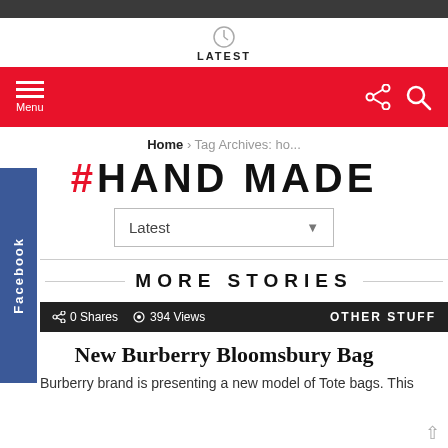LATEST
Menu
#HAND MADE
Home › Tag Archives: ho...
Latest
MORE STORIES
0 Shares  394 Views  OTHER STUFF
New Burberry Bloomsbury Bag
Burberry brand is presenting a new model of Tote bags. This